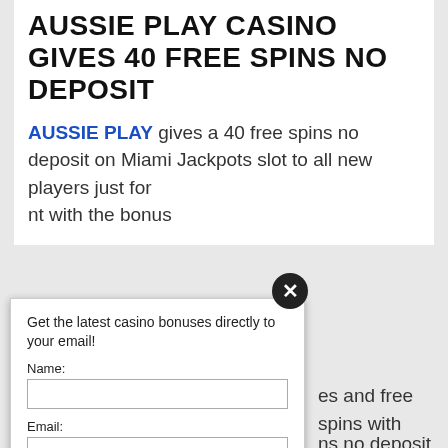AUSSIE PLAY CASINO GIVES 40 FREE SPINS NO DEPOSIT
AUSSIE PLAY gives a 40 free spins no deposit on Miami Jackpots slot to all new players just for registering an account with the bonus code
[Figure (screenshot): Email signup overlay modal with Name and Email fields, a red SIGN UP NOW! button, privacy notice, and AWeber branding. A circular close button with X appears at top-right of modal.]
es and free spins with
ns no deposit with the EE
ith the bonus
o get 50 free spins on % bonus
ers from Australia, USA and many more